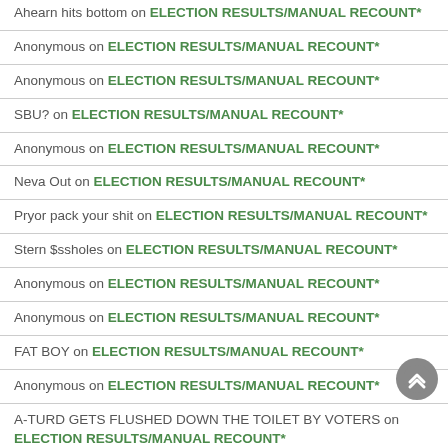Ahearn hits bottom on ELECTION RESULTS/MANUAL RECOUNT*
Anonymous on ELECTION RESULTS/MANUAL RECOUNT*
Anonymous on ELECTION RESULTS/MANUAL RECOUNT*
SBU? on ELECTION RESULTS/MANUAL RECOUNT*
Anonymous on ELECTION RESULTS/MANUAL RECOUNT*
Neva Out on ELECTION RESULTS/MANUAL RECOUNT*
Pryor pack your shit on ELECTION RESULTS/MANUAL RECOUNT*
Stern $ssholes on ELECTION RESULTS/MANUAL RECOUNT*
Anonymous on ELECTION RESULTS/MANUAL RECOUNT*
Anonymous on ELECTION RESULTS/MANUAL RECOUNT*
FAT BOY on ELECTION RESULTS/MANUAL RECOUNT*
Anonymous on ELECTION RESULTS/MANUAL RECOUNT*
A-TURD GETS FLUSHED DOWN THE TOILET BY VOTERS on ELECTION RESULTS/MANUAL RECOUNT*